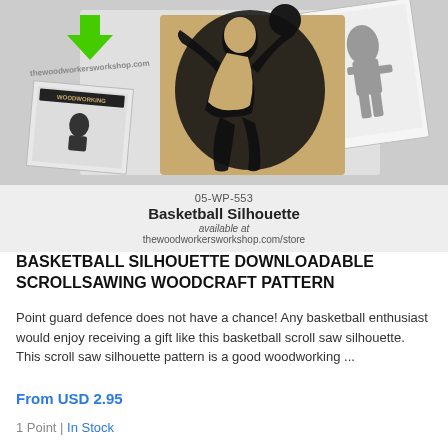[Figure (illustration): Product image showing a basketball silhouette scrollsaw woodcraft pattern. The image shows a wooden cutout of a basketball player dunking, along with a pattern sheet and a magazine/catalog cover in the background. There is also a green download arrow and a watermark logo visible.]
05-WP-553 Basketball Silhouette available at thewoodworkersworkshop.com/store
BASKETBALL SILHOUETTE DOWNLOADABLE SCROLLSAWING WOODCRAFT PATTERN
Point guard defence does not have a chance! Any basketball enthusiast would enjoy receiving a gift like this basketball scroll saw silhouette. This scroll saw silhouette pattern is a good woodworking ...
From USD 2.95
1 Point | In Stock